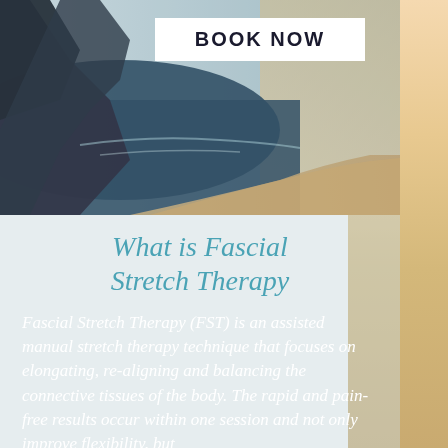[Figure (photo): Aerial landscape photo showing dark rocky cliffs, deep blue water, and sandy shoreline with a warm gradient background on the right side]
BOOK NOW
What is Fascial Stretch Therapy
Fascial Stretch Therapy (FST) is an assisted manual stretch therapy technique that focuses on elongating, re-aligning and balancing the connective tissues of the body. The rapid and pain-free results occur within one session and not only improve flexibility, but